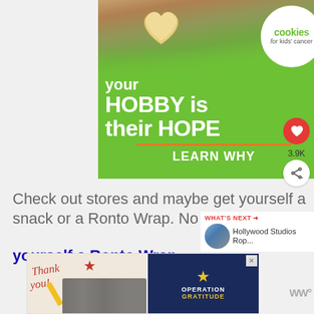[Figure (illustration): Advertisement banner for Cookies for Kids' Cancer charity. Green background with hands holding a heart-shaped cookie. Text reads 'your HOBBY is their HOPE' with 'LEARN WHY' and a circular white logo for 'cookies for kids' cancer'.]
Check out stores and maybe get yourself a snack or a Ronto Wrap. No seriously yourself a Ronto Wrap...
[Figure (photo): Thumbnail image of Hollywood Studios for 'WHAT'S NEXT' sidebar showing Hollywood Studios Rop...]
[Figure (illustration): Bottom advertisement for Operation Gratitude showing firefighters and 'Thank you!' text with patriotic imagery.]